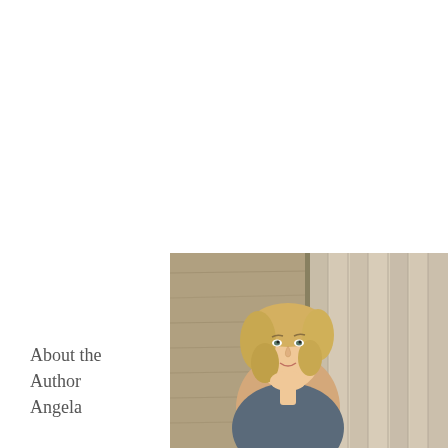About the Author
Angela
[Figure (photo): Author photo of Angela, a woman with blonde hair, standing near a wooden door or wall, wearing casual attire, smiling slightly at the camera.]